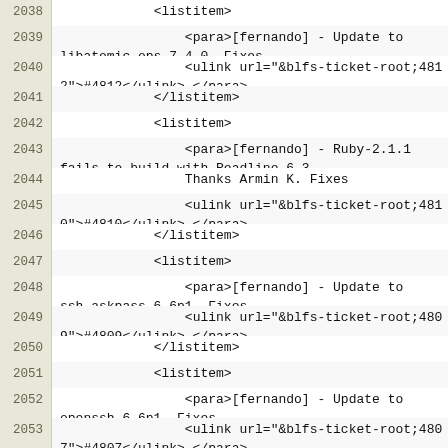2038    <listitem>
2039        <para>[fernando] - Update to libatomic_ops-7.4.0. Fixes
2040            <ulink url="&blfs-ticket-root;4812">#4812</ulink>.</para>
2041        </listitem>
2042        <listitem>
2043            <para>[fernando] - Ruby-2.1.1 fails to build with Readline-6.3.
2044                Thanks Armin K. Fixes
2045            <ulink url="&blfs-ticket-root;4810">#4810</ulink>.</para>
2046        </listitem>
2047        <listitem>
2048            <para>[fernando] - Update to ssh-askpass-6.6p1. Fixes
2049            <ulink url="&blfs-ticket-root;4809">#4809</ulink>.</para>
2050        </listitem>
2051        <listitem>
2052            <para>[fernando] - Update to openssh-6.6p1. Fixes
2053            <ulink url="&blfs-ticket-root;4807">#4807</ulink>.</para>